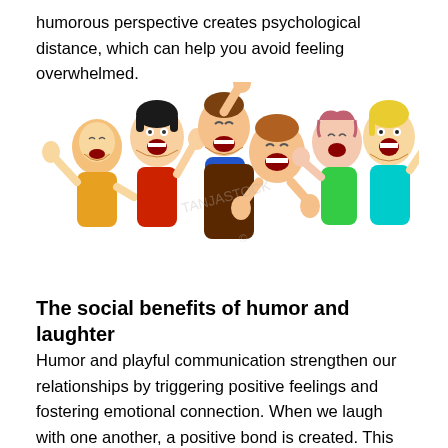humorous perspective creates psychological distance, which can help you avoid feeling overwhelmed.
[Figure (illustration): Cartoon illustration of six laughing and cheering people with hands raised, wearing colorful clothes (yellow, red, blue, brown, green, teal).]
The social benefits of humor and laughter
Humor and playful communication strengthen our relationships by triggering positive feelings and fostering emotional connection. When we laugh with one another, a positive bond is created. This bond acts as a strong buffer against stress, disagreements, and disappointment.